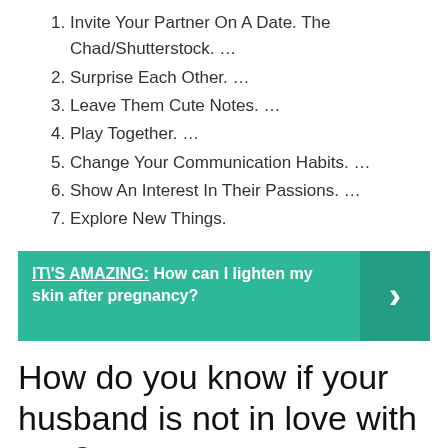1. Invite Your Partner On A Date. The Chad/Shutterstock. …
2. Surprise Each Other. …
3. Leave Them Cute Notes. …
4. Play Together. …
5. Change Your Communication Habits. …
6. Show An Interest In Their Passions. …
7. Explore New Things.
IT\'S AMAZING:  How can I lighten my skin after pregnancy?
How do you know if your husband is not in love with you?